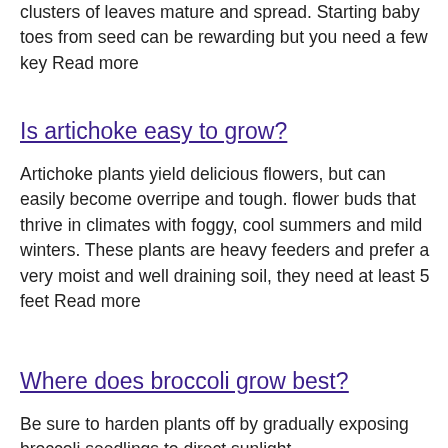clusters of leaves mature and spread. Starting baby toes from seed can be rewarding but you need a few key Read more
Is artichoke easy to grow?
Artichoke plants yield delicious flowers, but can easily become overripe and tough. flower buds that thrive in climates with foggy, cool summers and mild winters. These plants are heavy feeders and prefer a very moist and well draining soil, they need at least 5 feet Read more
Where does broccoli grow best?
Be sure to harden plants off by gradually exposing broccoli seedlings to direct sunlight